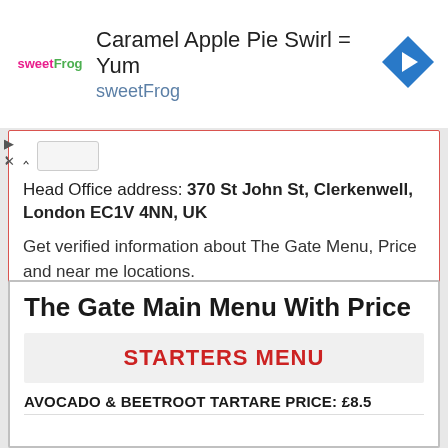[Figure (other): sweetFrog advertisement banner with logo, text 'Caramel Apple Pie Swirl = Yum', brand name 'sweetFrog', and a blue navigation arrow icon]
Head Office address: 370 St John St, Clerkenwell, London EC1V 4NN, UK
Get verified information about The Gate Menu, Price and near me locations.
The Gate Main Menu With Price
STARTERS MENU
AVOCADO & BEETROOT TARTARE PRICE: £8.5